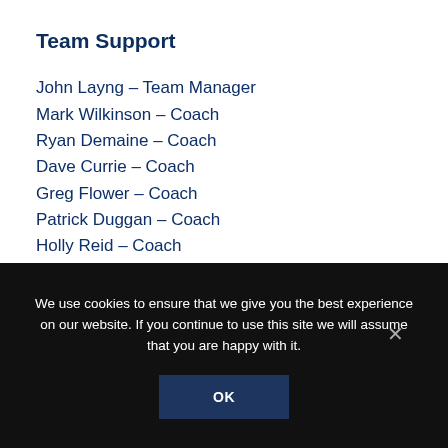Team Support
John Layng – Team Manager
Mark Wilkinson – Coach
Ryan Demaine – Coach
Dave Currie – Coach
Greg Flower – Coach
Patrick Duggan – Coach
Holly Reid – Coach
Sian Vaughan Evans – Physiotherapist
Andy Ciecierski – Team Doctor
We use cookies to ensure that we give you the best experience on our website. If you continue to use this site we will assume that you are happy with it.